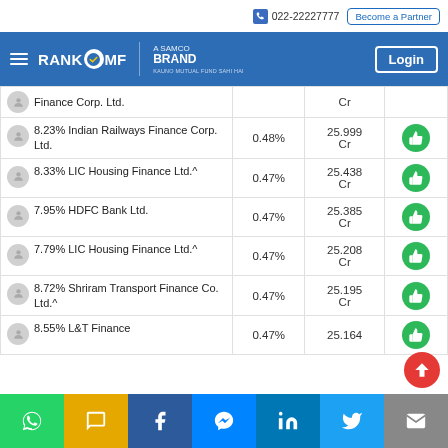022-22227777 | Become a Partner | RankMF – A Samco Brand | Login
| Holding | % Weight | Value | Action |
| --- | --- | --- | --- |
| Finance Corp. Ltd. |  | Cr |  |
| 8.23% Indian Railways Finance Corp. Ltd. | 0.48% | 25.999 Cr |  |
| 8.33% LIC Housing Finance Ltd.^ | 0.47% | 25.438 Cr |  |
| 7.95% HDFC Bank Ltd. | 0.47% | 25.385 Cr |  |
| 7.79% LIC Housing Finance Ltd.^ | 0.47% | 25.208 Cr |  |
| 8.72% Shriram Transport Finance Co. Ltd.^ | 0.47% | 25.195 Cr |  |
| 8.55% L&T Finance | 0.47% | 25.164 |  |
WhatsApp | SMS | Facebook | Messenger | LinkedIn | Twitter | Email